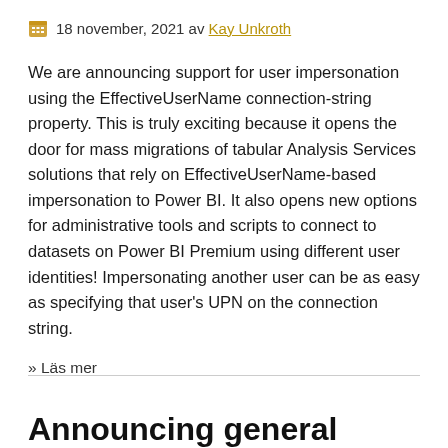18 november, 2021 av Kay Unkroth
We are announcing support for user impersonation using the EffectiveUserName connection-string property. This is truly exciting because it opens the door for mass migrations of tabular Analysis Services solutions that rely on EffectiveUserName-based impersonation to Power BI. It also opens new options for administrative tools and scripts to connect to datasets on Power BI Premium using different user identities! Impersonating another user can be as easy as specifying that user’s UPN on the connection string.
» Läs mer
Announcing general